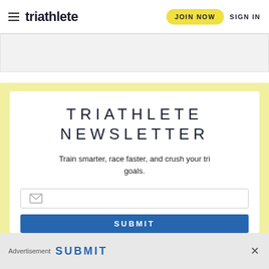triathlete | JOIN NOW | SIGN IN
TRIATHLETE NEWSLETTER
Train smarter, race faster, and crush your tri goals.
[Figure (screenshot): Email input field with envelope icon]
[Figure (screenshot): Blue SUBMIT button]
Advertisement | SUBMIT